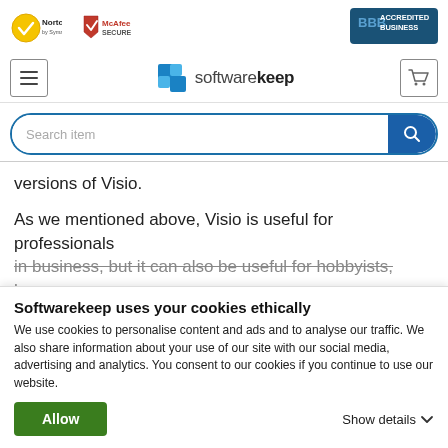[Figure (logo): Norton by Symantec logo with yellow circle checkmark]
[Figure (logo): McAfee Secure logo with red shield]
[Figure (logo): BBB Accredited Business logo on dark blue background]
[Figure (logo): SoftwareKeep logo with blue squares icon and wordmark 'softwarekeep']
[Figure (screenshot): Search bar with placeholder 'Search item' and blue search button]
versions of Visio.
As we mentioned above, Visio is useful for professionals in business, but it can also be useful for hobbyists, home
Softwarekeep uses your cookies ethically
We use cookies to personalise content and ads and to analyse our traffic. We also share information about your use of our site with our social media, advertising and analytics. You consent to our cookies if you continue to use our website.